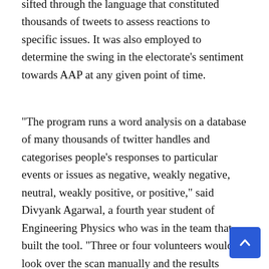sifted through the language that constituted thousands of tweets to assess reactions to specific issues. It was also employed to determine the swing in the electorate's sentiment towards AAP at any given point of time.
“The program runs a word analysis on a database of many thousands of twitter handles and categorises people’s responses to particular events or issues as negative, weakly negative, neutral, weakly positive, or positive,” said Divyank Agarwal, a fourth year student of Engineering Physics who was in the team that built the tool. “Three or four volunteers would look over the scan manually and the results would be communicated with the Delhi office for the confirmation.”